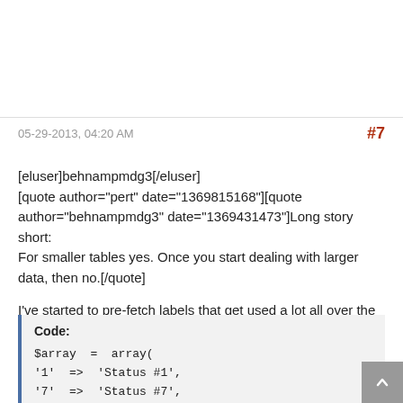05-29-2013, 04:20 AM
[eluser]behnampmdg3[/eluser]
[quote author="pert" date="1369815168"][quote author="behnampmdg3" date="1369431473"]Long story short:
For smaller tables yes. Once you start dealing with larger data, then no.[/quote]

I've started to pre-fetch labels that get used a lot all over the place.

Like get all the statuses and assign them into PHP array using ID as array index:
Code:
$array = array(
'1'  =>  'Status #1',
'7'  =>  'Status #7',